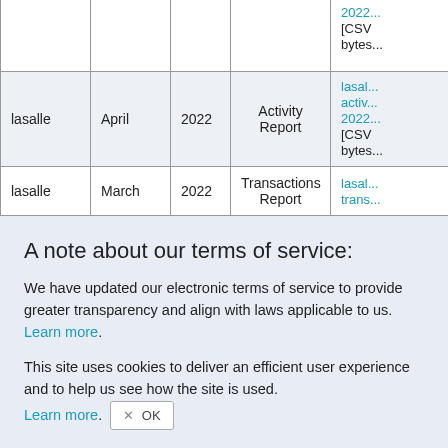|  |  |  |  |  |
| --- | --- | --- | --- | --- |
|  |  |  |  | 2022...
[CSV
bytes... |
| lasalle | April | 2022 | Activity Report | lasal...
activ...
2022...
[CSV
bytes... |
| lasalle | March | 2022 | Transactions Report | lasal...
trans... |
A note about our terms of service:
We have updated our electronic terms of service to provide greater transparency and align with laws applicable to us. Learn more.
This site uses cookies to deliver an efficient user experience and to help us see how the site is used. Learn more.  OK